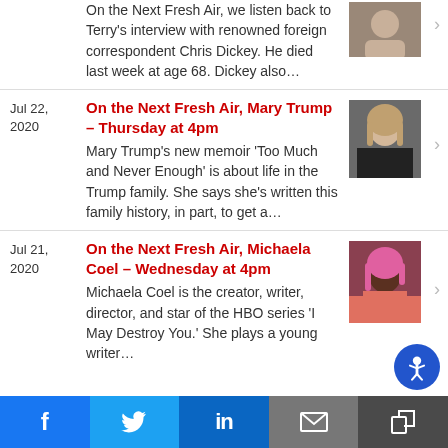On the Next Fresh Air, we listen back to Terry's interview with renowned foreign correspondent Chris Dickey. He died last week at age 68. Dickey also...
Jul 22, 2020 | On the Next Fresh Air, Mary Trump – Thursday at 4pm | Mary Trump's new memoir 'Too Much and Never Enough' is about life in the Trump family. She says she's written this family history, in part, to get a...
Jul 21, 2020 | On the Next Fresh Air, Michaela Coel – Wednesday at 4pm | Michaela Coel is the creator, writer, director, and star of the HBO series 'I May Destroy You.' She plays a young writer...
Facebook | Twitter | LinkedIn | Email | More